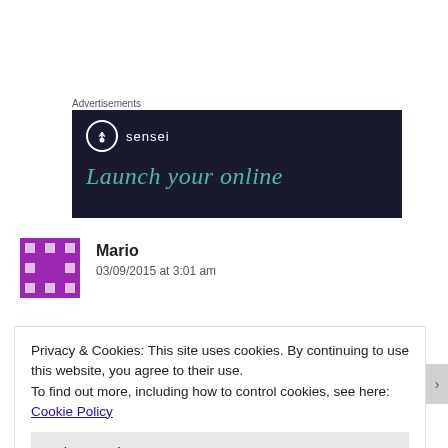Advertisements
[Figure (illustration): Dark navy advertisement banner for 'sensei' with a white circle tree logo and the text 'Launch your online' in teal italic serif font.]
Mario
03/09/2015 at 3:01 am
Privacy & Cookies: This site uses cookies. By continuing to use this website, you agree to their use.
To find out more, including how to control cookies, see here: Cookie Policy
[Close and accept]